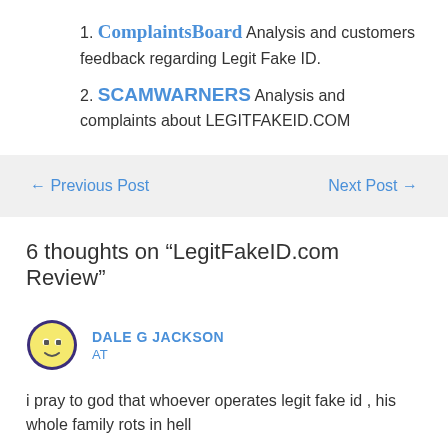ComplaintsBoard Analysis and customers feedback regarding Legit Fake ID.
SCAMWARNERS Analysis and complaints about LEGITFAKEID.COM
← Previous Post    Next Post →
6 thoughts on “LegitFakeID.com Review”
DALE G JACKSON
AT
i pray to god that whoever operates legit fake id , his whole family rots in hell